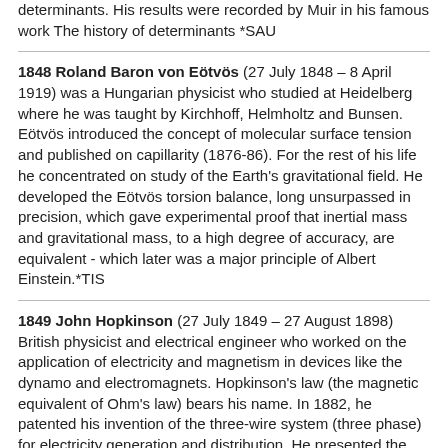determinants. His results were recorded by Muir in his famous work The history of determinants *SAU
1848 Roland Baron von Eötvös (27 July 1848 – 8 April 1919) was a Hungarian physicist who studied at Heidelberg where he was taught by Kirchhoff, Helmholtz and Bunsen. Eötvös introduced the concept of molecular surface tension and published on capillarity (1876-86). For the rest of his life he concentrated on study of the Earth's gravitational field. He developed the Eötvös torsion balance, long unsurpassed in precision, which gave experimental proof that inertial mass and gravitational mass, to a high degree of accuracy, are equivalent - which later was a major principle of Albert Einstein.*TIS
1849 John Hopkinson (27 July 1849 – 27 August 1898) British physicist and electrical engineer who worked on the application of electricity and magnetism in devices like the dynamo and electromagnets. Hopkinson's law (the magnetic equivalent of Ohm's law) bears his name. In 1882, he patented his invention of the three-wire system (three phase) for electricity generation and distribution. He presented the principle the synchronous motors (1883), and designed